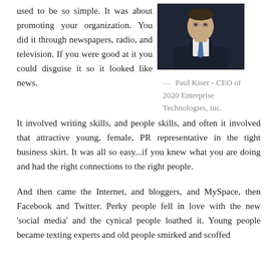[Figure (photo): Photo of Paul Kiser, a man in a dark suit with a blue tie, upper body visible against a dark background.]
— Paul Kiser - CEO of 2020 Enterprise Technologies, inc.
used to be so simple. It was about promoting your organization. You did it through newspapers, radio, and television. If you were good at it you could disguise it so it looked like news. It involved writing skills, and people skills, and often it involved that attractive young, female, PR representative in the tight business skirt. It was all so easy...if you knew what you are doing and had the right connections to the right people.
And then came the Internet, and bloggers, and MySpace, then Facebook and Twitter. Perky people fell in love with the new 'social media' and the cynical people loathed it. Young people became texting experts and old people smirked and scoffed